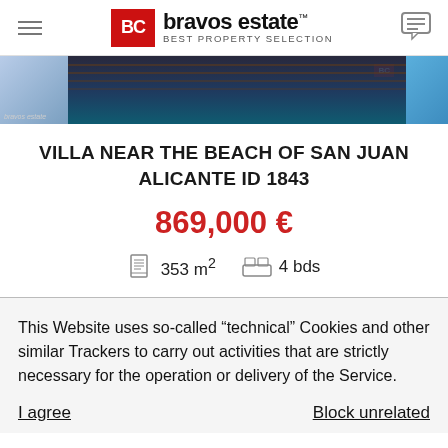[Figure (logo): Bravos Estate logo with BC red square badge and 'BEST PROPERTY SELECTION' subtitle]
[Figure (photo): Property image strip showing interior/exterior photos of the villa]
VILLA NEAR THE BEACH OF SAN JUAN ALICANTE ID 1843
869,000 €
353 m² 4 bds
This Website uses so-called "technical" Cookies and other similar Trackers to carry out activities that are strictly necessary for the operation or delivery of the Service.
I agree
Block unrelated